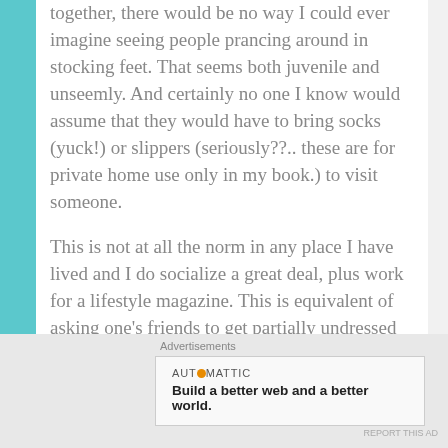together, there would be no way I could ever imagine seeing people prancing around in stocking feet. That seems both juvenile and unseemly. And certainly no one I know would assume that they would have to bring socks (yuck!) or slippers (seriously??.. these are for private home use only in my book.) to visit someone.
This is not at all the norm in any place I have lived and I do socialize a great deal, plus work for a lifestyle magazine. This is equivalent of asking one's friends to get partially undressed to enter their homes. In fact, when anyone I know has been asked to remove their shoes on
Advertisements
[Figure (other): Automattic advertisement banner: 'Build a better web and a better world.']